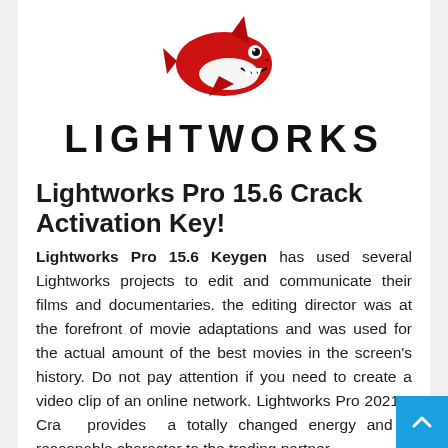[Figure (logo): Red cartoon shark logo above the Lightworks brand name in bold black uppercase letters]
Lightworks Pro 15.6 Crack Activation Key!
Lightworks Pro 15.6 Keygen has used several Lightworks projects to edit and communicate their films and documentaries. the editing director was at the forefront of movie adaptations and was used for the actual amount of the best movies in the screen's history. Do not pay attention if you need to create a video clip of an online network. Lightworks Pro 2021.3 Crack provides a totally changed energy and a reasonable character to the trading partner